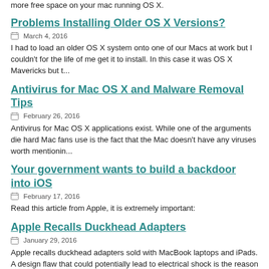more free space on your mac running OS X.
Problems Installing Older OS X Versions?
March 4, 2016
I had to load an older OS X system onto one of our Macs at work but I couldn't for the life of me get it to install. In this case it was OS X Mavericks but t...
Antivirus for Mac OS X and Malware Removal Tips
February 26, 2016
Antivirus for Mac OS X applications exist. While one of the arguments die hard Mac fans use is the fact that the Mac doesn't have any viruses worth mentionin...
Your government wants to build a backdoor into iOS
February 17, 2016
Read this article from Apple, it is extremely important:
Apple Recalls Duckhead Adapters
January 29, 2016
Apple recalls duckhead adapters sold with MacBook laptops and iPads. A design flaw that could potentially lead to electrical shock is the reason for this